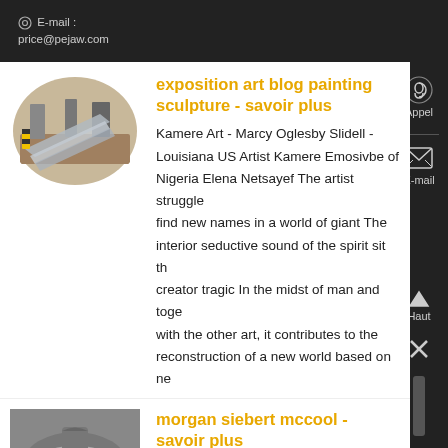E-mail : price@pejaw.com
exposition art blog painting sculpture - savoir plus
Kamere Art - Marcy Oglesby Slidell - Louisiana US Artist Kamere Emosivbe of Nigeria Elena Netsayef The artist struggle find new names in a world of giant The interior seductive sound of the spirit sit the creator tragic In the midst of man and together with the other art, it contributes to the reconstruction of a new world based on ne
morgan siebert mccool - savoir plus